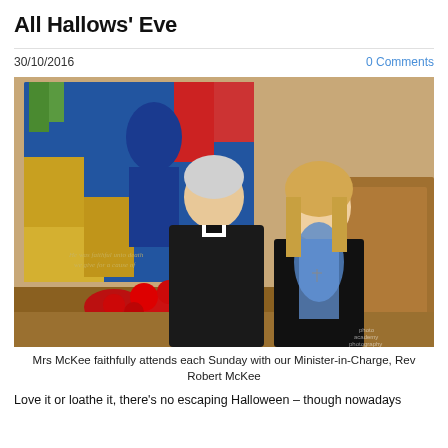All Hallows' Eve
30/10/2016
0 Comments
[Figure (photo): A man in clerical collar (Rev Robert McKee) and a woman (Mrs McKee) smiling together in front of a stained glass window with a poppy wreath, inside a church.]
Mrs McKee faithfully attends each Sunday with our Minister-in-Charge, Rev Robert McKee
Love it or loathe it, there's no escaping Halloween – though nowadays